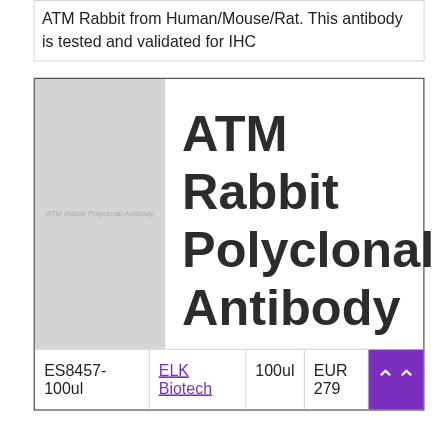ATM Rabbit from Human/Mouse/Rat. This antibody is tested and validated for IHC
ATM Rabbit Polyclonal Antibody
| ES8457-100ul | ELK Biotech | 100ul | EUR 279 |
| --- | --- | --- | --- |
| ES8457-100ul | ELK Biotech | 100ul | EUR 279 |